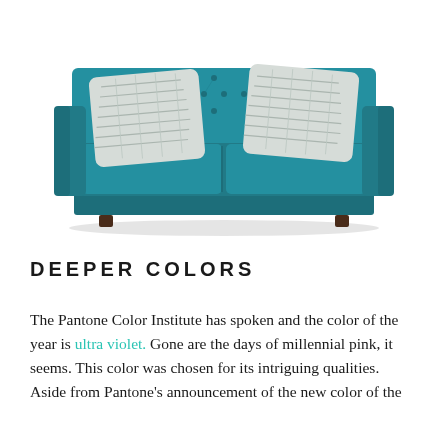[Figure (photo): A tufted teal/blue-green velvet sofa with two decorative geometric-patterned throw pillows in silver-white, viewed from the front against a white background.]
DEEPER COLORS
The Pantone Color Institute has spoken and the color of the year is ultra violet. Gone are the days of millennial pink, it seems. This color was chosen for its intriguing qualities. Aside from Pantone's announcement of the new color of the